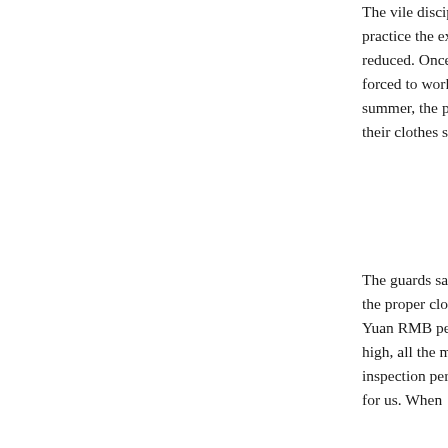The vile disciplinary guards also ordered other inmates to beat them whenever they started to practice the exercises. Their hands were beaten until they swelled up, while their food was reduced. Once the practitioners started to practice, they beat them up. The practitioners were forced to work long hours (16-20 hours) a day. They were not allowed to wash. During the summer, the practitioners were allowed only 15 minutes every 2 weeks. Since they work all day, their clothes smelled. They let them to take showers only once or twice a year.
The guards said that I did not behave myself, so they refused to visit me. I could not even get the proper clothing from my family. Everyone in the labor camp was forced to pay 260-270 Yuan RMB per month (the average monthly salary is 500 Yuan RMB). As if the salary were too high, all the maintenance costs (such as fixing pipes, windows, and flooring) were deducted. If inspection personnel came from outside, the guards stopped us working on and make good food for us. When